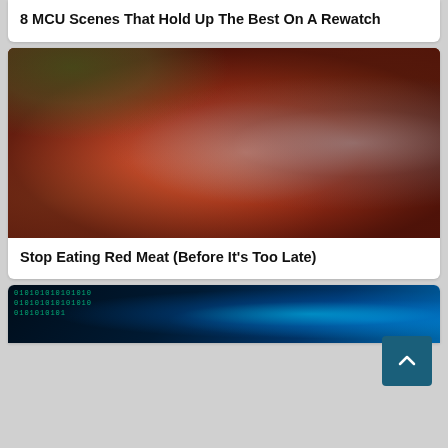8 MCU Scenes That Hold Up The Best On A Rewatch
[Figure (photo): Close-up photo of grilled/seared red meat steaks, one sliced open showing pink interior, garnished with rosemary, on a wooden cutting board with a fork visible on the right]
Stop Eating Red Meat (Before It's Too Late)
[Figure (photo): Partial image of a digital/technology themed graphic with blue tones, binary code text visible on the left side, and what appears to be a human figure rendered in teal/cyan on the right]